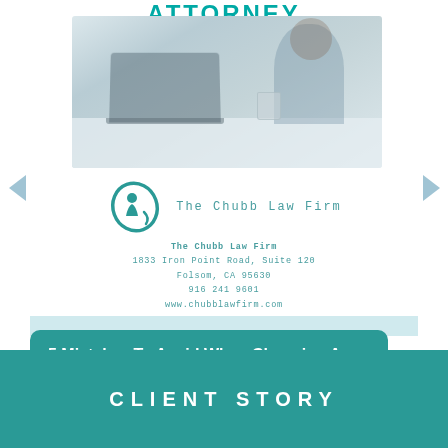ATTORNEY
[Figure (photo): Person sitting at a desk with a laptop, hand on forehead, appearing stressed]
[Figure (logo): The Chubb Law Firm logo - teal circular design with a figure]
The Chubb Law Firm
1833 Iron Point Road, Suite 120
Folsom, CA 95630
916 241 9601
www.chubblawfirm.com
5 Mistakes To Avoid When Choosing An Estate Planning Attorney
CLIENT STORY